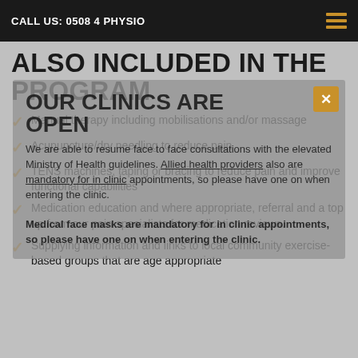CALL US: 0508 4 PHYSIO
ALSO INCLUDED IN THE PROGRAM
Manual therapy including mobilisations and/or massage
Acupuncture/dry needling to reduce pain
TENS machines, taping or bracing to reduce pain and improve functional capabilities
Medication education and where appropriate, referral and a top up from our pain specialists for medication reviews.
Supplying information and links to local community exercise- based groups that are age appropriate
[Figure (infographic): Modal overlay popup with text: OUR CLINICS ARE OPEN. Text reads: We are able to resume face to face consultations with the elevated Ministry of Health guidelines. Allied health providers also underline are mandatory for in clinic appointments, so please have one on when entering the clinic. Medical face masks are mandatory for in clinic appointments, so please have one on when entering the clinic. Close button (X) in gold/amber color top right.]